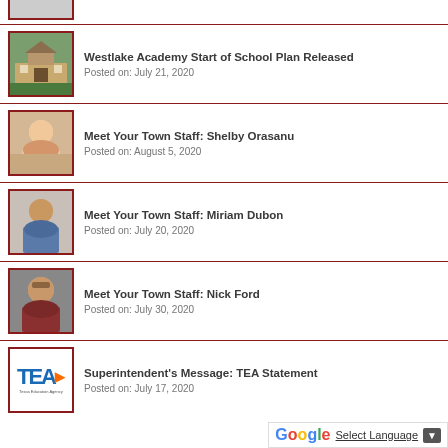[Figure (photo): Partial thumbnail of an item at the top, cropped]
Westlake Academy Start of School Plan Released
Posted on: July 21, 2020
Meet Your Town Staff: Shelby Orasanu
Posted on: August 5, 2020
Meet Your Town Staff: Miriam Dubon
Posted on: July 20, 2020
Meet Your Town Staff: Nick Ford
Posted on: July 30, 2020
Superintendent's Message: TEA Statement
Posted on: July 17, 2020